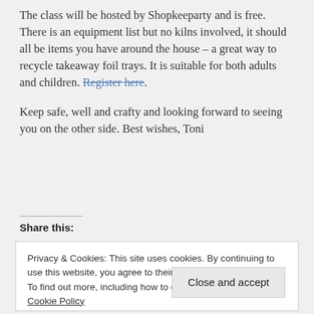The class will be hosted by Shopkeeparty and is free. There is an equipment list but no kilns involved, it should all be items you have around the house – a great way to recycle takeaway foil trays. It is suitable for both adults and children. Register here.
Keep safe, well and crafty and looking forward to seeing you on the other side. Best wishes, Toni
Share this:
Privacy & Cookies: This site uses cookies. By continuing to use this website, you agree to their use. To find out more, including how to control cookies, see here: Cookie Policy
Close and accept
lockdown ideas, shopkeeparty